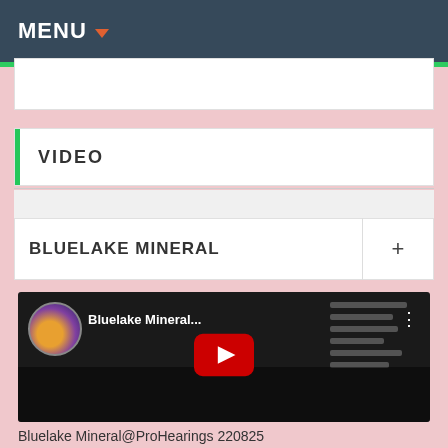MENU
VIDEO
BLUELAKE MINERAL
[Figure (screenshot): YouTube video thumbnail showing Bluelake Mineral video with play button, channel avatar, and channel name 'Bluelake Mineral...']
Bluelake Mineral@ProHearings 220825